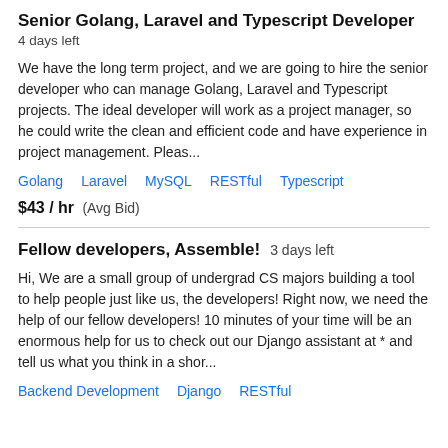Senior Golang, Laravel and Typescript Developer
4 days left
We have the long term project, and we are going to hire the senior developer who can manage Golang, Laravel and Typescript projects. The ideal developer will work as a project manager, so he could write the clean and efficient code and have experience in project management. Pleas...
Golang   Laravel   MySQL   RESTful   Typescript
$43 / hr  (Avg Bid)
Fellow developers, Assemble!  3 days left
Hi, We are a small group of undergrad CS majors building a tool to help people just like us, the developers! Right now, we need the help of our fellow developers! 10 minutes of your time will be an enormous help for us to check out our Django assistant at * and tell us what you think in a shor...
Backend Development   Django   RESTful